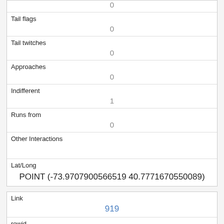| 0 |
| Tail flags | 0 |
| Tail twitches | 0 |
| Approaches | 0 |
| Indifferent | 1 |
| Runs from | 0 |
| Other Interactions |  |
| Lat/Long | POINT (-73.9707900566519 40.7771670550089) |
| Link | 919 |
| rowid | 919 |
| longitude |  |